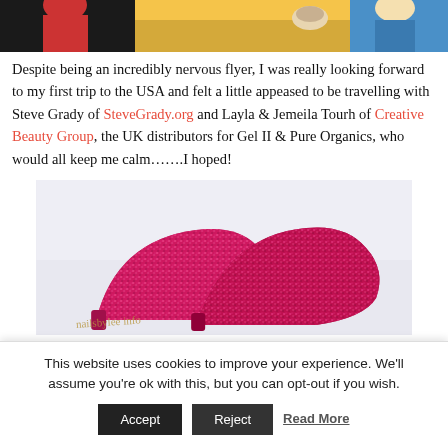[Figure (photo): Partial top photo showing people at a table, cropped at top of page]
Despite being an incredibly nervous flyer, I was really looking forward to my first trip to the USA and felt a little appeased to be travelling with Steve Grady of SteveGrady.org and Layla & Jemeila Tourh of Creative Beauty Group, the UK distributors for Gel II & Pure Organics, who would all keep me calm…….I hoped!
[Figure (photo): Photo of pink glittery high heel shoes on a light background with decorative text/logo]
This website uses cookies to improve your experience. We'll assume you're ok with this, but you can opt-out if you wish.